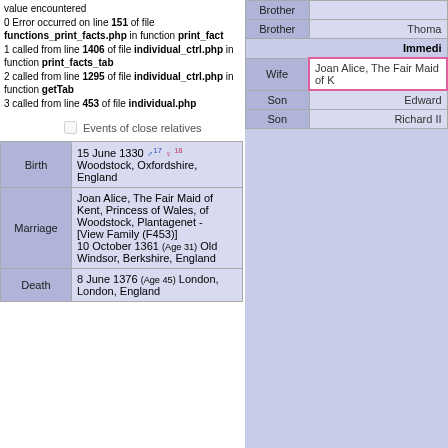value encountered
0 Error occurred on line 151 of file functions_print_facts.php in function print_fact
1 called from line 1406 of file individual_ctrl.php in function print_facts_tab
2 called from line 1295 of file individual_ctrl.php in function getTab
3 called from line 453 of file individual.php
Events of close relatives
|  |  |
| --- | --- |
| Birth | 15 June 1330 ♂17 ♀18
Woodstock, Oxfordshire, England |
| Marriage | Joan Alice, The Fair Maid of Kent, Princess of Wales, of Woodstock, Plantagenet - [View Family (F453)]
10 October 1361 (Age 31) Old Windsor, Berkshire, England |
| Death | 8 June 1376 (Age 45) London, London, England |
|  |  |
| --- | --- |
| Brother |  |
| Brother | Thoma... |
|  | Immed... |
| Wife | Joan Alice, The Fair Maid of K... |
| Son | Edward... |
| Son | Richard II... |